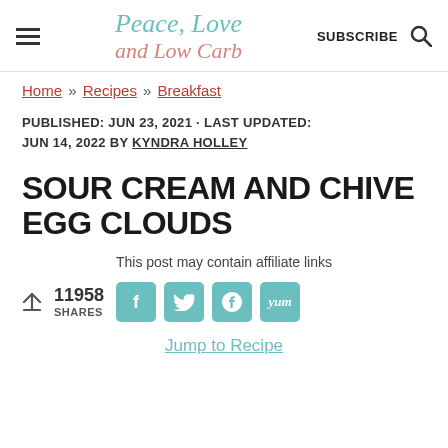Peace, Love and Low Carb — SUBSCRIBE
Home » Recipes » Breakfast
PUBLISHED: JUN 23, 2021 · LAST UPDATED: JUN 14, 2022 BY KYNDRA HOLLEY
SOUR CREAM AND CHIVE EGG CLOUDS
This post may contain affiliate links
11958 SHARES
Jump to Recipe